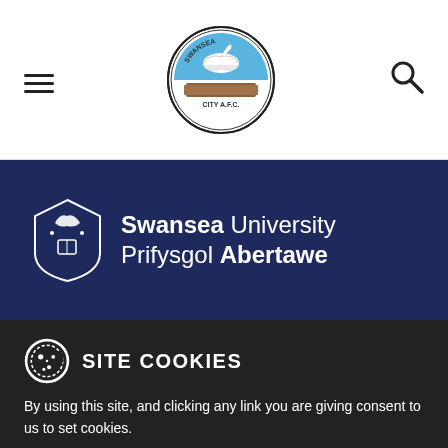[Figure (logo): Swansea City AFC badge/crest circular logo in center of navigation bar]
[Figure (logo): Swansea University / Prifysgol Abertawe logo on dark navy background with shield crest]
SITE COOKIES
By using this site, and clicking any link you are giving consent to us to set cookies.
Accept & Close
Find Out More